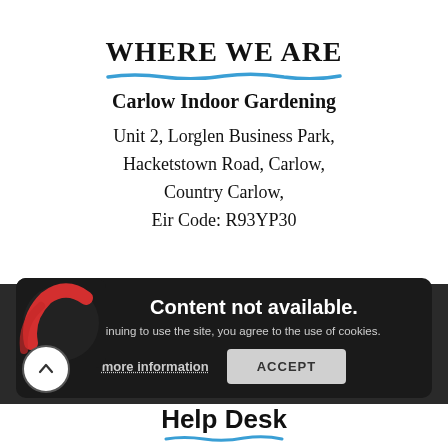WHERE WE ARE
Carlow Indoor Gardening
Unit 2, Lorglen Business Park,
Hacketstown Road, Carlow,
Country Carlow,
Eir Code: R93YP30
[Figure (screenshot): Cookie consent banner overlay with 'Content not available.' message, agreement text, 'more information' link, and 'ACCEPT' button. A red and black logo appears on the left side. Below is a dark map area with a scroll-up button.]
Help Desk